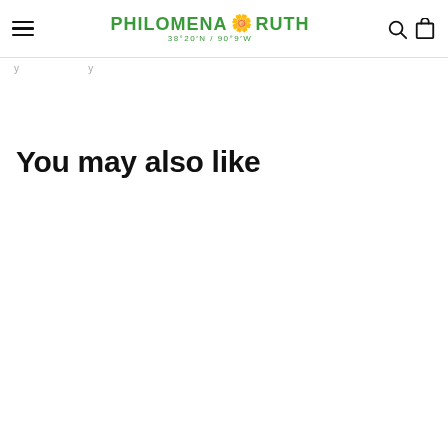PHILOMENA RUTH 38°20′N/90°9′W
You may also like